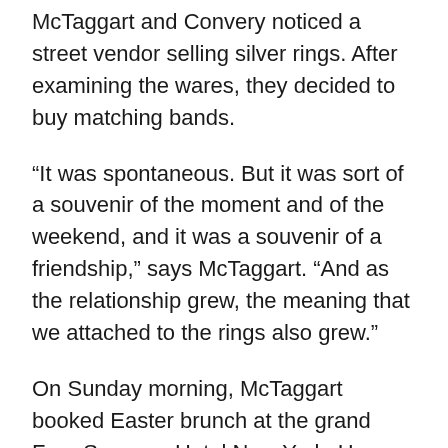McTaggart and Convery noticed a street vendor selling silver rings. After examining the wares, they decided to buy matching bands.
“It was spontaneous. But it was sort of a souvenir of the moment and of the weekend, and it was a souvenir of a friendship,” says McTaggart. “And as the relationship grew, the meaning that we attached to the rings also grew.”
On Sunday morning, McTaggart booked Easter brunch at the grand Four Seasons Hotel New York. He invited Convery to come along.
“When he came for brunch, he was in a suit, and he looked very, very nervous,” recalls McTaggart.
The suit, adds McTaggart was “a total change from dance